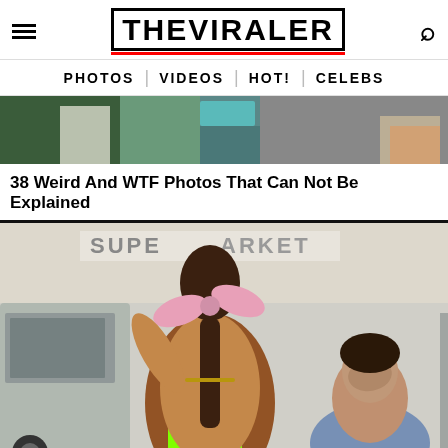THE VIRALER
PHOTOS | VIDEOS | HOT! | CELEBS
[Figure (photo): Top partial photo showing someone at what appears to be an ATM or kiosk, cropped at top of page]
38 Weird And WTF Photos That Can Not Be Explained
[Figure (photo): Outdoor street scene showing a woman in a green backless swimsuit with a pink bandana bow in her braided hair, talking on phone, with 'THE BEACH SHOP' sign and 'SUPERMARKET' text visible in background, and another woman sitting to the right covering her face]